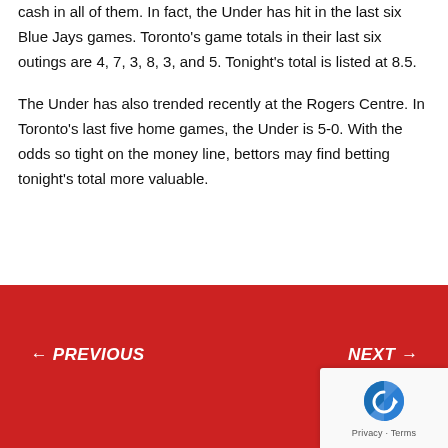cash in all of them. In fact, the Under has hit in the last six Blue Jays games. Toronto's game totals in their last six outings are 4, 7, 3, 8, 3, and 5. Tonight's total is listed at 8.5.
The Under has also trended recently at the Rogers Centre. In Toronto's last five home games, the Under is 5-0. With the odds so tight on the money line, bettors may find betting tonight's total more valuable.
← PREVIOUS    NEXT →